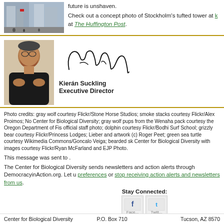[Figure (photo): Street-level photo of an urban street with tall buildings and pedestrians]
future is unshaven.
Check out a concept photo of Stockholm's tufted tower at [link] at The Huffington Post.
[Figure (photo): Portrait photo of Kierán Suckling, a man in a black shirt with arms crossed]
[Figure (illustration): Cursive signature of Kierán Suckling]
Kierán Suckling
Executive Director
Photo credits: gray wolf courtesy Flickr/Stone Horse Studios; smoke stacks courtesy Flickr/Alex Proimos; No Center for Biological Diversity; gray wolf pups from the Wenaha pack courtesy the Oregon Department of Fis official staff photo; dolphin courtesy Flickr/Bodhi Surf School; grizzly bear courtesy Flickr/Princess Lodges; Lieber and artwork (c) Roger Peet; green sea turtle courtesy Wikimedia Commons/Goncalo Veiga; bearded sk Center for Biological Diversity with images courtesy Flickr/Ryan McFarland and EJP Photo.
This message was sent to .
The Center for Biological Diversity sends newsletters and action alerts through DemocracyinAction.org. Let u preferences or stop receiving action alerts and newsletters from us.
Stay Connected:
[Figure (logo): Facebook icon button]
[Figure (logo): Twitter icon button]
Center for Biological Diversity    P.O. Box 710    Tucson, AZ 8570